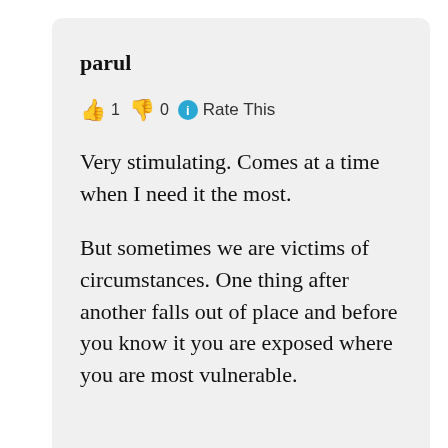parul
👍 1 👎 0 ℹ Rate This
Very stimulating. Comes at a time when I need it the most.

But sometimes we are victims of circumstances. One thing after another falls out of place and before you know it you are exposed where you are most vulnerable.